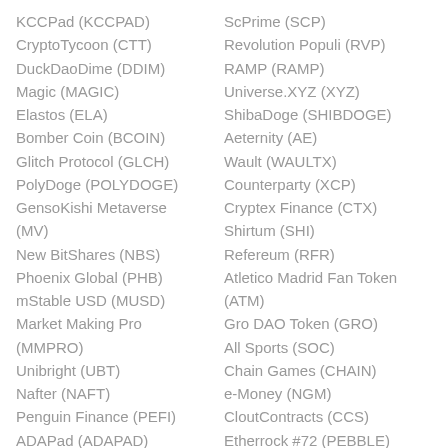KCCPad (KCCPAD)
CryptoTycoon (CTT)
DuckDaoDime (DDIM)
Magic (MAGIC)
Elastos (ELA)
Bomber Coin (BCOIN)
Glitch Protocol (GLCH)
PolyDoge (POLYDOGE)
GensoKishi Metaverse (MV)
New BitShares (NBS)
Phoenix Global (PHB)
mStable USD (MUSD)
Market Making Pro (MMPRO)
Unibright (UBT)
Nafter (NAFT)
Penguin Finance (PEFI)
ADAPad (ADAPAD)
ScPrime (SCP)
Revolution Populi (RVP)
RAMP (RAMP)
Universe.XYZ (XYZ)
ShibaDoge (SHIBDOGE)
Aeternity (AE)
Wault (WAULTX)
Counterparty (XCP)
Cryptex Finance (CTX)
Shirtum (SHI)
Refereum (RFR)
Atletico Madrid Fan Token (ATM)
Gro DAO Token (GRO)
All Sports (SOC)
Chain Games (CHAIN)
e-Money (NGM)
CloutContracts (CCS)
Etherrock #72 (PEBBLE)